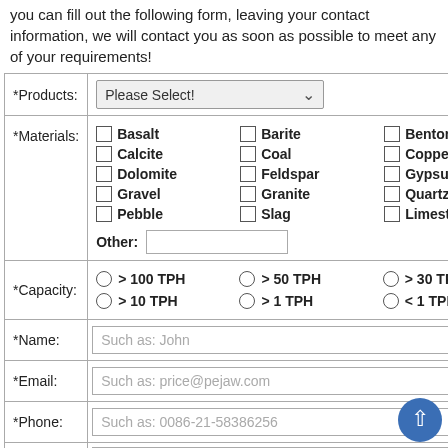you can fill out the following form, leaving your contact information, we will contact you as soon as possible to meet any of your requirements!
| *Products: | Please Select! |
| *Materials: | Basalt, Barite, Bentonite, Calcite, Coal, Copper, Dolomite, Feldspar, Gypsum, Gravel, Granite, Quartz, Pebble, Slag, Limestone, Other: |
| *Capacity: | > 100 TPH, > 50 TPH, > 30 TPH, > 10 TPH, > 1 TPH, < 1 TPH |
| *Name: | Such as: John |
| *Email: | Such as: price@pejaw.com |
| *Phone: | Such as: 0086-21-58386256 |
| Message: | Other requirements: output size like 0-10,10-15, 15-20 mm for crushing or 75 microns ( 200 meshes) for mill machine and other requirements. |